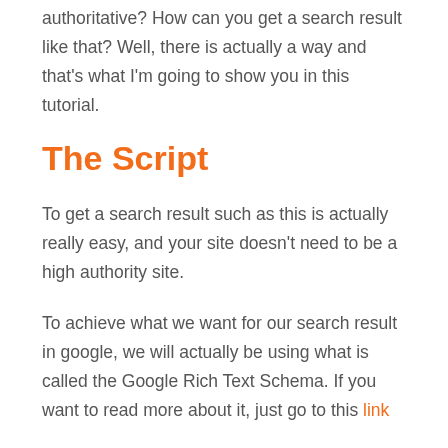authoritative? How can you get a search result like that? Well, there is actually a way and that's what I'm going to show you in this tutorial.
The Script
To get a search result such as this is actually really easy, and your site doesn't need to be a high authority site.
To achieve what we want for our search result in google, we will actually be using what is called the Google Rich Text Schema. If you want to read more about it, just go to this link